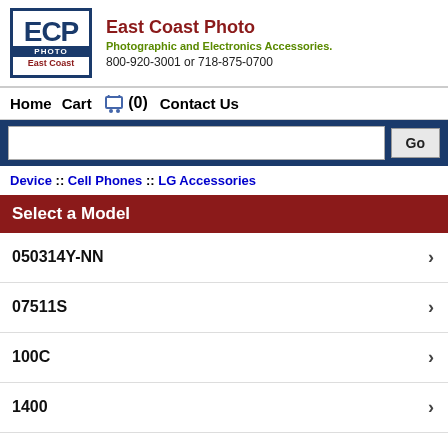[Figure (logo): East Coast Photo logo with ECP letters and 'East Coast' text in a bordered box]
East Coast Photo
Photographic and Electronics Accessories.
800-920-3001 or 718-875-0700
Home  Cart  (0)  Contact Us
Device :: Cell Phones :: LG Accessories
Select a Model
050314Y-NN
07511S
100C
1400
150S
1ICP5/44/65